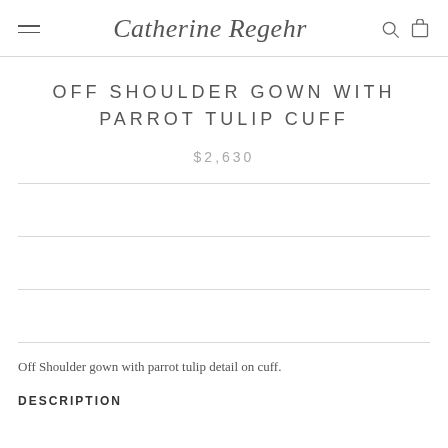Catherine Regehr
OFF SHOULDER GOWN WITH PARROT TULIP CUFF
$2,630
Off Shoulder gown with parrot tulip detail on cuff.
DESCRIPTION